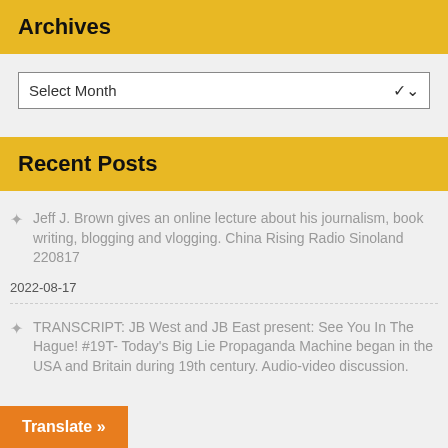Archives
Select Month
Recent Posts
Jeff J. Brown gives an online lecture about his journalism, book writing, blogging and vlogging. China Rising Radio Sinoland 220817
2022-08-17
TRANSCRIPT: JB West and JB East present: See You In The Hague! #19T- Today's Big Lie Propaganda Machine began in the USA and Britain during 19th century. Audio-video discussion.
Translate »